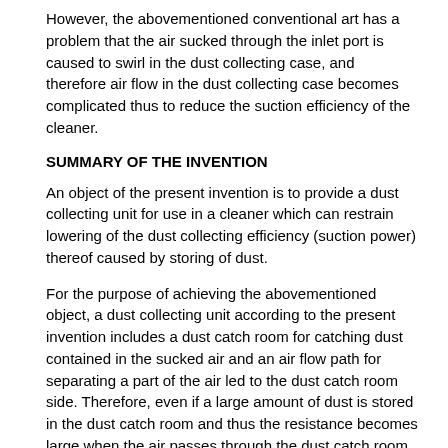However, the abovementioned conventional art has a problem that the air sucked through the inlet port is caused to swirl in the dust collecting case, and therefore air flow in the dust collecting case becomes complicated thus to reduce the suction efficiency of the cleaner.
SUMMARY OF THE INVENTION
An object of the present invention is to provide a dust collecting unit for use in a cleaner which can restrain lowering of the dust collecting efficiency (suction power) thereof caused by storing of dust.
For the purpose of achieving the abovementioned object, a dust collecting unit according to the present invention includes a dust catch room for catching dust contained in the sucked air and an air flow path for separating a part of the air led to the dust catch room side. Therefore, even if a large amount of dust is stored in the dust catch room and thus the resistance becomes large when the air passes through the dust catch room, air flow can be ensured by the air flow path. As a result, the whole of the air flow passing through the dust collecting unit is maintained and